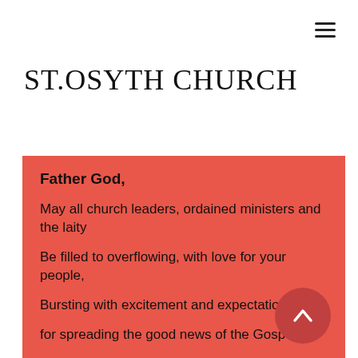ST.OSYTH CHURCH
Father God,
May all church leaders, ordained ministers and the laity
Be filled to overflowing, with love for your people,
Bursting with excitement and expectation
for spreading the good news of the Gospel
Spirit of the living God:
Fall afresh on us